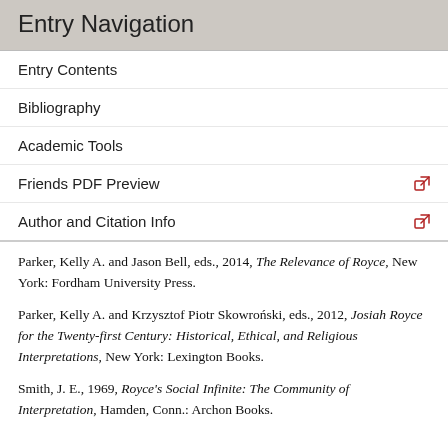Entry Navigation
Entry Contents
Bibliography
Academic Tools
Friends PDF Preview
Author and Citation Info
Parker, Kelly A. and Jason Bell, eds., 2014, The Relevance of Royce, New York: Fordham University Press.
Parker, Kelly A. and Krzysztof Piotr Skowroński, eds., 2012, Josiah Royce for the Twenty-first Century: Historical, Ethical, and Religious Interpretations, New York: Lexington Books.
Smith, J. E., 1969, Royce's Social Infinite: The Community of Interpretation, Hamden, Conn.: Archon Books.